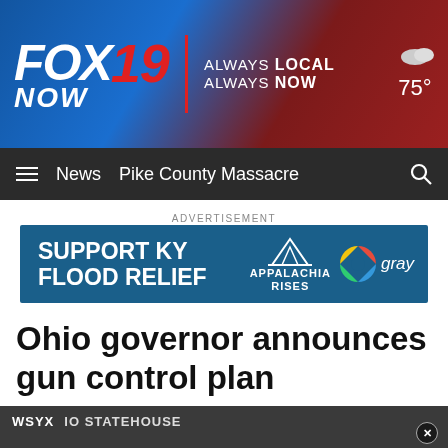FOX 19 NOW — ALWAYS LOCAL ALWAYS NOW — 75°
News  Pike County Massacre
ADVERTISEMENT
[Figure (infographic): Advertisement banner: SUPPORT KY FLOOD RELIEF — Appalachia Rises — gray television network logo]
Ohio governor announces gun control plan
[Figure (photo): Press conference at Ohio Statehouse Columbus with WSYX watermark, showing officials at podium with American and Ohio flags in background]